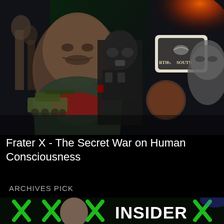[Figure (photo): Composite collage image showing a man in a hoodie, explosion from 9/11 towers, a soldier in a gas mask with tactical gear, a North vs South Civil War badge, a tank, a Confederate pin, and a stern old man's face against dark dramatic backgrounds.]
Frater X - The Secret War on Human Consciousness
ARCHIVES PICK
[Figure (photo): Bottom thumbnail image showing a person with green X marks overlaid and the word INSIDER in large bold white letters on a dark background.]